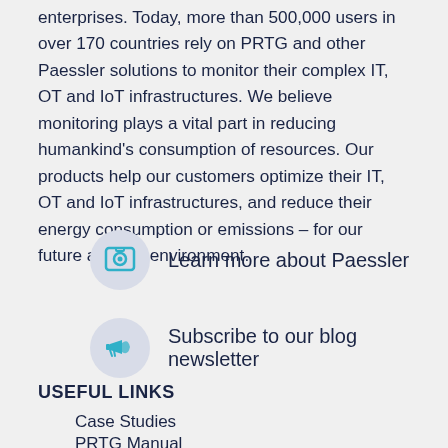enterprises. Today, more than 500,000 users in over 170 countries rely on PRTG and other Paessler solutions to monitor their complex IT, OT and IoT infrastructures. We believe monitoring plays a vital part in reducing humankind's consumption of resources. Our products help our customers optimize their IT, OT and IoT infrastructures, and reduce their energy consumption or emissions – for our future and our environment.
Learn more about Paessler
Subscribe to our blog newsletter
USEFUL LINKS
Case Studies
PRTG Manual